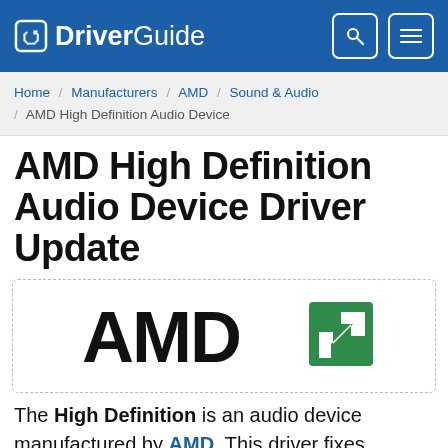DriverGuide
Home / Manufacturers / AMD / Sound & Audio / AMD High Definition Audio Device
AMD High Definition Audio Device Driver Update
[Figure (logo): AMD logo — black text 'AMD' with green AMD arrow logo mark]
The High Definition is an audio device manufactured by AMD. This driver fixes